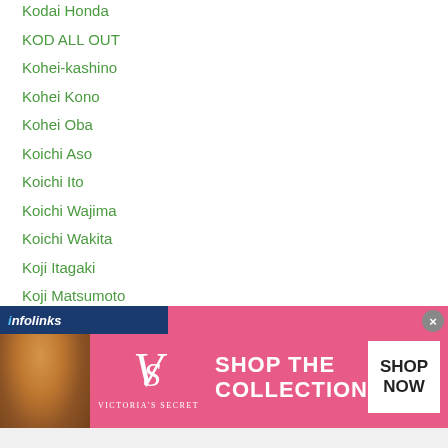Kodai Honda
KOD ALL OUT
Kohei-kashino
Kohei Kono
Kohei Oba
Koichi Aso
Koichi Ito
Koichi Wajima
Koichi Wakita
Koji Itagaki
Koji Matsumoto
Koji Numata
Koji Sato
Koji Umetsu
Koki Eto
Koki Inoue
...meda (partially visible)
[Figure (screenshot): infolinks ad bar overlay at bottom of list]
[Figure (photo): Victoria's Secret advertisement banner with woman, VS logo, 'SHOP THE COLLECTION' text, and 'SHOP NOW' button]